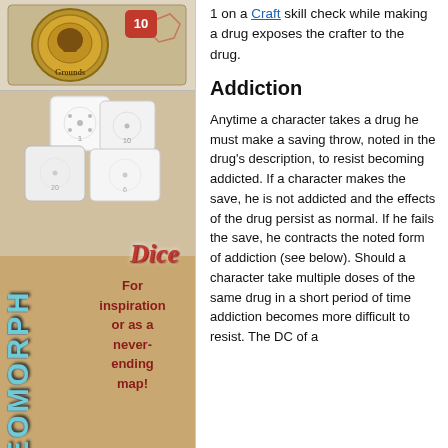[Figure (photo): Top left: illustration of a game badge/token on a brown background with text 'Grounds' and a red die showing 10]
[Figure (illustration): Advertisement for 'Geomorph Dice' — shows white polyhedral dice stacked, decorative teal vertical text reading 'GEOMORPH', red cursive 'Dice' lettering, red bold text 'For inspiration or as a never-ending map!' on tan/brown background]
1 on a Craft skill check while making a drug exposes the crafter to the drug.
Addiction
Anytime a character takes a drug he must make a saving throw, noted in the drug's description, to resist becoming addicted. If a character makes the save, he is not addicted and the effects of the drug persist as normal. If he fails the save, he contracts the noted form of addiction (see below). Should a character take multiple doses of the same drug in a short period of time addiction becomes more difficult to resist. The DC of a